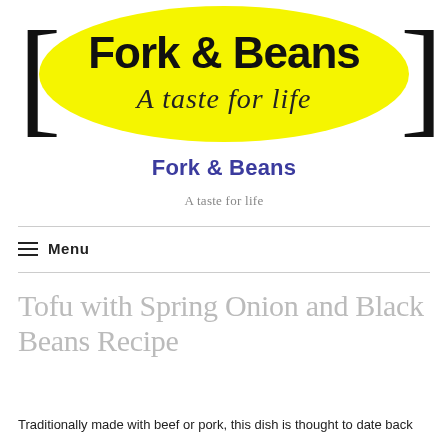[Figure (logo): Fork & Beans logo: yellow ellipse with bold black 'Fork & Beans' text and 'A taste for life' italic subtitle, flanked by decorative black bracket shapes on white background.]
Fork & Beans
A taste for life
Menu
Tofu with Spring Onion and Black Beans Recipe
Traditionally made with beef or pork, this dish is thought to date back